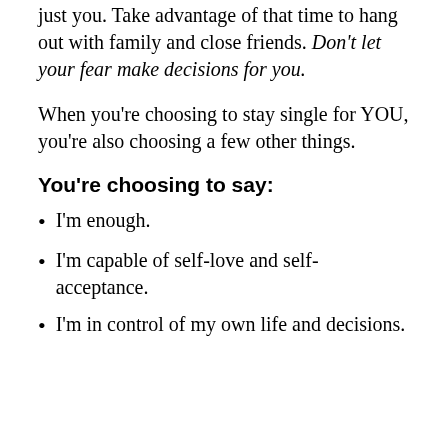just you. Take advantage of that time to hang out with family and close friends. Don't let your fear make decisions for you.
When you're choosing to stay single for YOU, you're also choosing a few other things.
You're choosing to say:
I'm enough.
I'm capable of self-love and self-acceptance.
I'm in control of my own life and decisions.